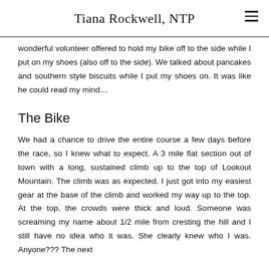Tiana Rockwell, NTP
wonderful volunteer offered to hold my bike off to the side while I put on my shoes (also off to the side). We talked about pancakes and southern style biscuits while I put my shoes on. It was like he could read my mind…
The Bike
We had a chance to drive the entire course a few days before the race, so I knew what to expect. A 3 mile flat section out of town with a long, sustained climb up to the top of Lookout Mountain. The climb was as expected. I just got into my easiest gear at the base of the climb and worked my way up to the top. At the top, the crowds were thick and loud. Someone was screaming my name about 1/2 mile from cresting the hill and I still have no idea who it was. She clearly knew who I was. Anyone??? The next